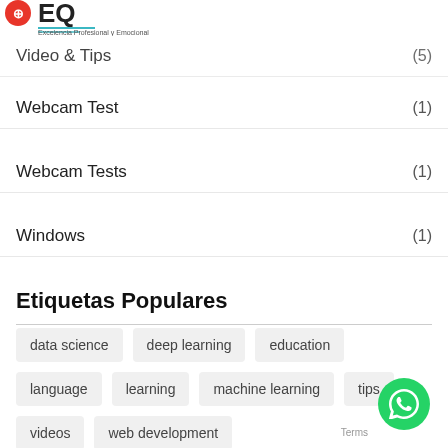[Figure (logo): EQ Excelencia Profesional y Emocional logo with red/orange icon and teal dots]
Video & Tips (5)
Webcam Test (1)
Webcam Tests (1)
Windows (1)
Etiquetas Populares
data science, deep learning, education, language, learning, machine learning, tips, videos, web development